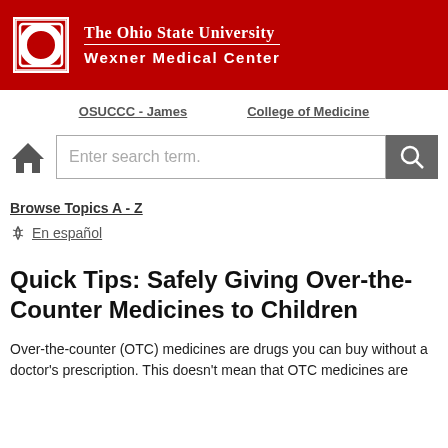[Figure (logo): The Ohio State University Wexner Medical Center header banner with OSU block O logo]
OSUCCC - James    College of Medicine
[Figure (screenshot): Search bar with home icon and search button]
Browse Topics A - Z
En español
Quick Tips: Safely Giving Over-the-Counter Medicines to Children
Over-the-counter (OTC) medicines are drugs you can buy without a doctor's prescription. This doesn't mean that OTC medicines are